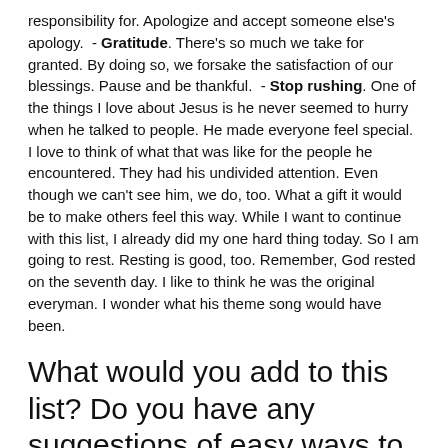responsibility for. Apologize and accept someone else's apology.  - Gratitude. There's so much we take for granted. By doing so, we forsake the satisfaction of our blessings. Pause and be thankful.  - Stop rushing. One of the things I love about Jesus is he never seemed to hurry when he talked to people. He made everyone feel special. I love to think of what that was like for the people he encountered. They had his undivided attention. Even though we can't see him, we do, too. What a gift it would be to make others feel this way. While I want to continue with this list, I already did my one hard thing today. So I am going to rest. Resting is good, too. Remember, God rested on the seventh day. I like to think he was the original everyman. I wonder what his theme song would have been.
What would you add to this list? Do you have any suggestions of easy ways to serve right where you are?